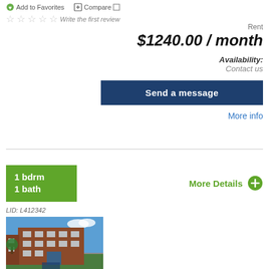Add to Favorites  Compare
☆☆☆☆☆ Write the first review
Rent
$1240.00 / month
Availability: Contact us
Send a message
More info
1 bdrm
1 bath
More Details
LID: L412342
[Figure (photo): Exterior photo of a multi-story brick apartment building with green lawn and blue sky]